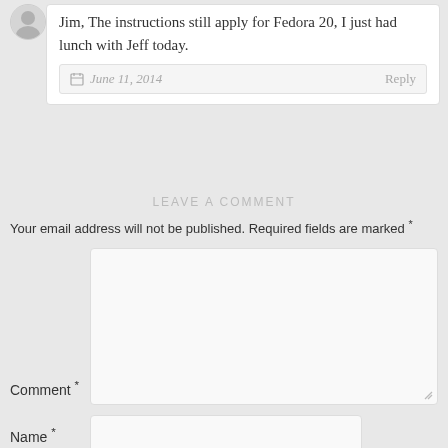Jim, The instructions still apply for Fedora 20, I just had lunch with Jeff today.
June 11, 2014
Reply
LEAVE A COMMENT
Your email address will not be published. Required fields are marked *
Comment *
Name *
Email *